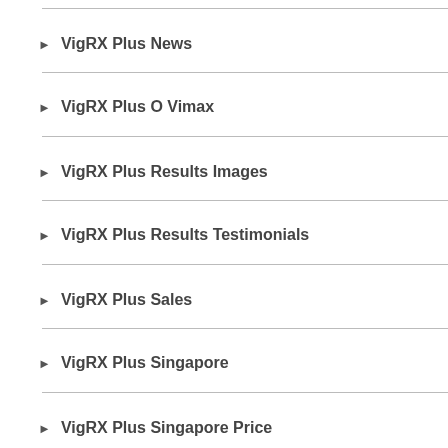VigRX Plus News
VigRX Plus O Vimax
VigRX Plus Results Images
VigRX Plus Results Testimonials
VigRX Plus Sales
VigRX Plus Singapore
VigRX Plus Singapore Price